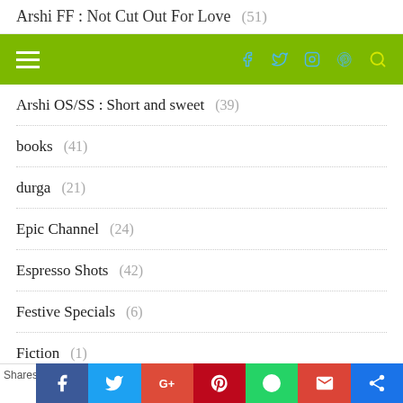Arshi FF : Not Cut Out For Love (51)
Navigation bar with hamburger menu and social icons (Facebook, Twitter, Instagram, Pinterest, Search)
Arshi OS/SS : Short and sweet (39)
books (41)
durga (21)
Epic Channel (24)
Espresso Shots (42)
Festive Specials (6)
Fiction (1)
Film (14)
food (22)
indi (59)
Shares | Facebook | Twitter | G+ | Pinterest | WhatsApp | Gmail | Share